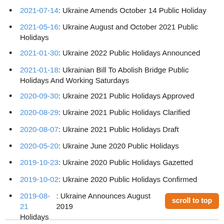2021-07-14: Ukraine Amends October 14 Public Holiday
2021-05-16: Ukraine August and October 2021 Public Holidays
2021-01-30: Ukraine 2022 Public Holidays Announced
2021-01-18: Ukrainian Bill To Abolish Bridge Public Holidays And Working Saturdays
2020-09-30: Ukraine 2021 Public Holidays Approved
2020-08-29: Ukraine 2021 Public Holidays Clarified
2020-08-07: Ukraine 2021 Public Holidays Draft
2020-05-20: Ukraine June 2020 Public Holidays
2019-10-23: Ukraine 2020 Public Holidays Gazetted
2019-10-02: Ukraine 2020 Public Holidays Confirmed
2019-08-21: Ukraine Announces August 2019 Public Holidays
more ...